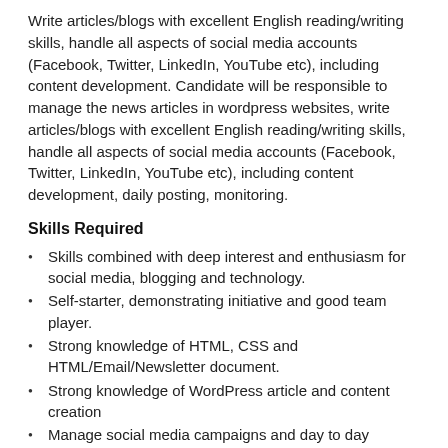Write articles/blogs with excellent English reading/writing skills, handle all aspects of social media accounts (Facebook, Twitter, LinkedIn, YouTube etc), including content development. Candidate will be responsible to manage the news articles in wordpress websites, write articles/blogs with excellent English reading/writing skills, handle all aspects of social media accounts (Facebook, Twitter, LinkedIn, YouTube etc), including content development, daily posting, monitoring.
Skills Required
Skills combined with deep interest and enthusiasm for social media, blogging and technology.
Self-starter, demonstrating initiative and good team player.
Strong knowledge of HTML, CSS and HTML/Email/Newsletter document.
Strong knowledge of WordPress article and content creation
Manage social media campaigns and day to day activities.
Write editorial content, blog and newsletterts.
Send monthly or bi-monthly newsletter (emails) to subscribers.
Response of newsletter emails using Google Analytics.
Engagement content (including graphics art work).
Engage in conversations and answer questions on social media
Create and maintain a social media posting schedule